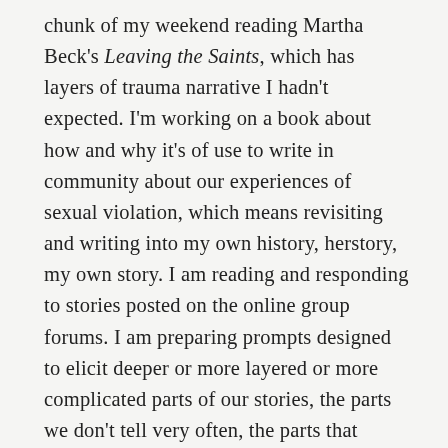chunk of my weekend reading Martha Beck's Leaving the Saints, which has layers of trauma narrative I hadn't expected. I'm working on a book about how and why it's of use to write in community about our experiences of sexual violation, which means revisiting and writing into my own history, herstory, my own story. I am reading and responding to stories posted on the online group forums. I am preparing prompts designed to elicit deeper or more layered or more complicated parts of our stories, the parts we don't tell very often, the parts that haven't been so exposed to the light, the parts we tuck underneath the rocks of our armor, protecting them, cradling them, keeping them safe. Those stories are often quite raw and blanched, and when they emerge, the language we use for them is full of energy, vivid and alive.